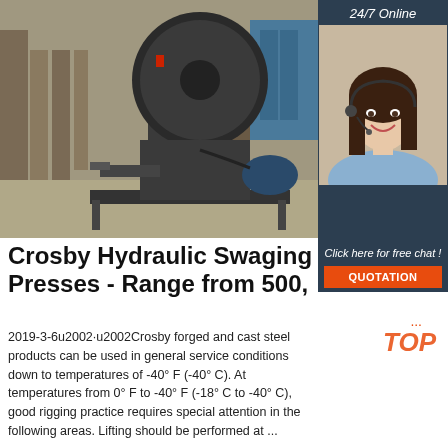[Figure (photo): Industrial hydraulic swaging press machine, dark grey color, on a factory floor with various equipment in background.]
[Figure (photo): Customer service agent - woman with headset smiling, under '24/7 Online' banner with 'Click here for free chat!' and QUOTATION button.]
Crosby Hydraulic Swaging Presses - Range from 500,
2019-3-6u2002·u2002Crosby forged and cast steel products can be used in general service conditions down to temperatures of -40° F (-40° C). At temperatures from 0° F to -40° F (-18° C to -40° C), good rigging practice requires special attention in the following areas. Lifting should be performed at ...